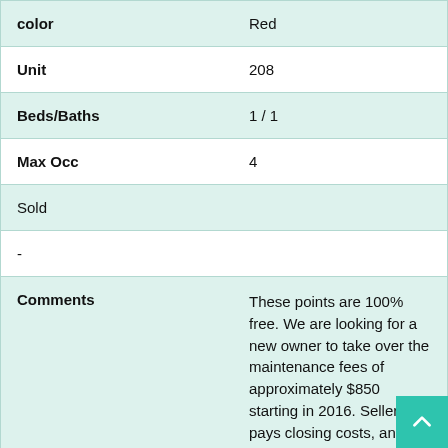| Field | Value |
| --- | --- |
| color | Red |
| Unit | 208 |
| Beds/Baths | 1 / 1 |
| Max Occ | 4 |
| Sold |  |
| - |  |
| Comments | These points are 100% free. We are looking for a new owner to take over the maintenance fees of approximately $850 starting in 2016. Seller pays closing costs, and transfer... |